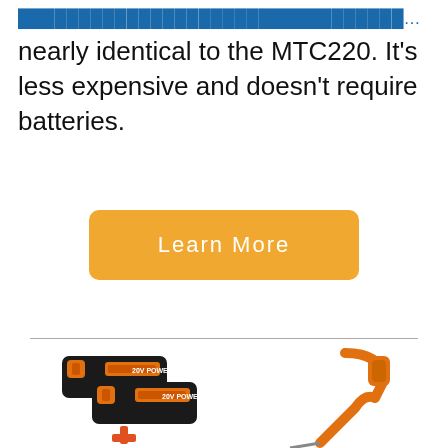[link: truncated url] and is nearly identical to the MTC220. It's less expensive and doesn't require batteries.
[Figure (other): Orange 'Learn More' button]
[Figure (photo): Product image showing two BLACK+DECKER 20V batteries, a charger with a plus sign, and a BLACK+DECKER string trimmer on the right side]